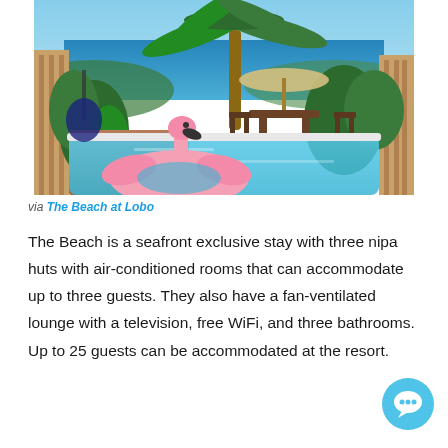[Figure (photo): Outdoor swimming pool with a large pink flamingo float, surrounded by tropical greenery, palm trees, patio furniture, and a view of the ocean in the background.]
via The Beach at Lobo
The Beach is a seafront exclusive stay with three nipa huts with air-conditioned rooms that can accommodate up to three guests. They also have a fan-ventilated lounge with a television, free WiFi, and three bathrooms. Up to 25 guests can be accommodated at the resort.